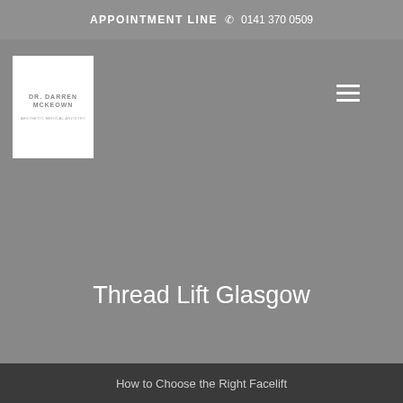APPOINTMENT LINE  0141 370 0509
[Figure (logo): Dr Darren McKeown logo — white box with grey text reading DR DARREN MCKEOWN with small tagline below]
Thread Lift Glasgow
How to Choose the Right Facelift